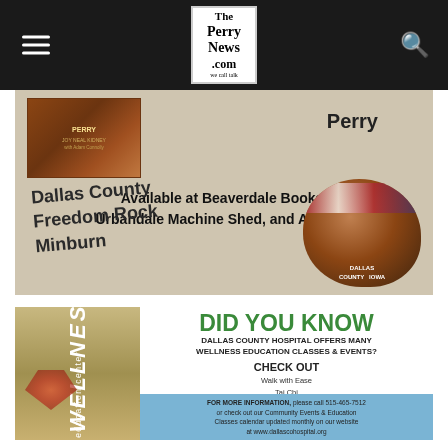The Perry News .com
[Figure (photo): Advertisement for a Perry-related book and Dallas County Freedom Rock at Minburn. Text: 'Perry', 'Available at Beaverdale Books, Urbandale Machine Shed, and Amazon', 'Dallas County Freedom Rock Minburn'. Shows book cover and painted rock with American flag motif.]
[Figure (photo): Dallas County Hospital Wellness Education Center advertisement. Text: 'DID YOU KNOW', 'DALLAS COUNTY HOSPITAL OFFERS MANY WELLNESS EDUCATION CLASSES & EVENTS?', 'CHECK OUT', 'Walk with Ease', 'Tai Chi', 'English & Spanish Diabetic Prevention', 'English & Spanish Diabetic Support Groups', 'Low-Impact & Seated Exercise Classes', 'Indoor & Outdoor Walking Trails', 'and so much more!', 'FOR MORE INFORMATION, please call 515-465-7512 or check out our Community Events & Education Classes calendar updated monthly on our website at www.dallascohospital.org']